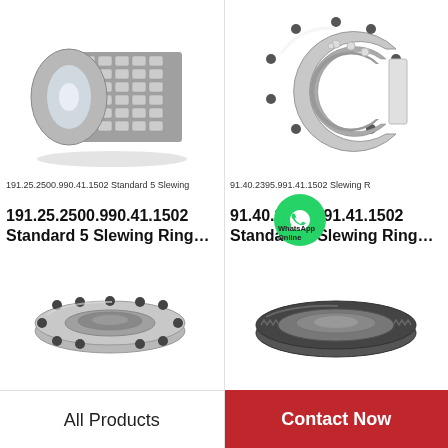[Figure (photo): Cylindrical roller bearing with multiple rows of rollers, silver metallic finish, product 191.25.2500.990.41.1502 Standard 5 Slewing Ring]
191.25.2500.990.41.1502 Standard 5 Slewing
191.25.2500.990.41.1502 Standard 5 Slewing Ring…
[Figure (photo): Slewing ring bearing with C-shaped opening showing ball race, bolt holes around rim, silver metallic finish, product 91.40.2395.991.41.1502 Standard 5 Slewing Ring]
91.40.2395.991.41.1502    Slewing R
91.40.2395.991.41.1502 Standard 5 Slewing Ring…
[Figure (photo): Flat slewing ring with bolt holes, no teeth visible on outer rim, silver metallic finish]
[Figure (photo): Slewing ring with external gear teeth on outer rim, dark metallic finish]
All Products
Contact Now